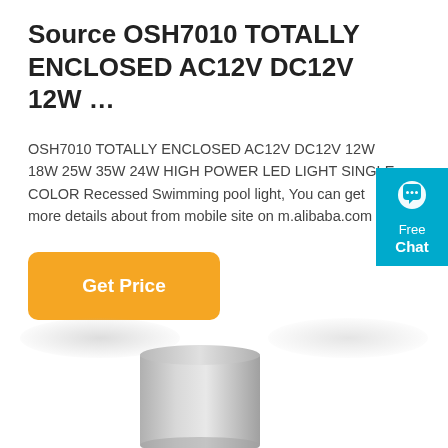Source OSH7010 TOTALLY ENCLOSED AC12V DC12V 12W …
OSH7010 TOTALLY ENCLOSED AC12V DC12V 12W 18W 25W 35W 24W HIGH POWER LED LIGHT SINGLE COLOR Recessed Swimming pool light, You can get more details about from mobile site on m.alibaba.com
[Figure (screenshot): Orange 'Get Price' button with rounded corners]
[Figure (screenshot): Teal/blue Free Chat widget with speech bubble icon]
[Figure (photo): Cylindrical silver/grey LED pool light product photo, partially visible at the bottom of the page]